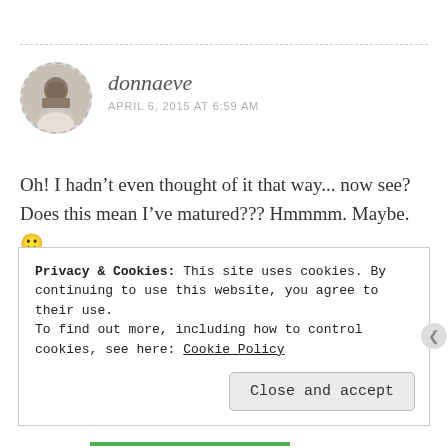donnaeve
APRIL 6, 2015 AT 6:59 AM
Oh! I hadn’t even thought of it that way... now see? Does this mean I’ve matured??? Hmmmm. Maybe. 🙂
★ Liked by 1 person
Privacy & Cookies: This site uses cookies. By continuing to use this website, you agree to their use.
To find out more, including how to control cookies, see here: Cookie Policy
Close and accept